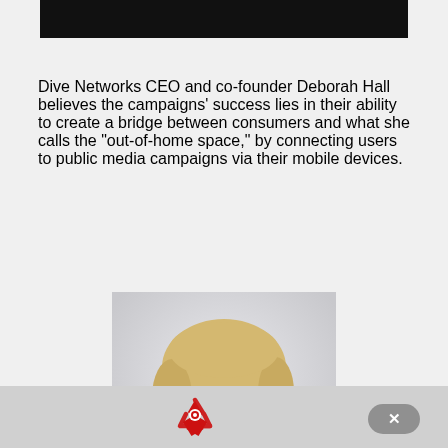Dive Networks CEO and co-founder Deborah Hall believes the campaigns’ success lies in their ability to create a bridge between consumers and what she calls the “out-of-home space,” by connecting users to public media campaigns via their mobile devices.
[Figure (photo): Portrait photo of a smiling blonde woman wearing a blue scarf, with a light/faded background]
[Figure (other): Red recycling symbol icon at the bottom of the page, with a grey close button (x) to its right]